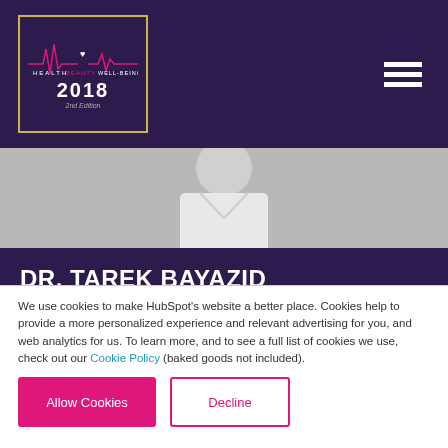[Figure (logo): Health Beauty Well-Being 2018 2nd Edition logo with ECG heartbeat line on dark purple background with gold border]
[Figure (photo): Grayscale photo of a person in a white medical coat or shirt, upper body visible]
DR. TAREK BAYAZID
SPECIALIST PLASTIC SURGERY - MEDART CLINICS
We use cookies to make HubSpot's website a better place. Cookies help to provide a more personalized experience and relevant advertising for you, and web analytics for us. To learn more, and to see a full list of cookies we use, check out our Cookie Policy (baked goods not included).